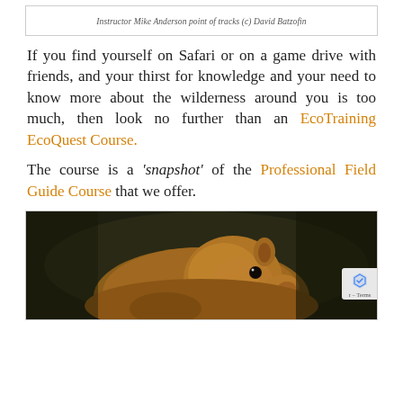Instructor Mike Anderson point of tracks (c) David Batzofin
If you find yourself on Safari or on a game drive with friends, and your thirst for knowledge and your need to know more about the wilderness around you is too much, then look no further than an EcoTraining EcoQuest Course.
The course is a ‘snapshot’ of the Professional Field Guide Course that we offer.
[Figure (photo): Close-up photo of a small brown squirrel-like rodent against a dark background]